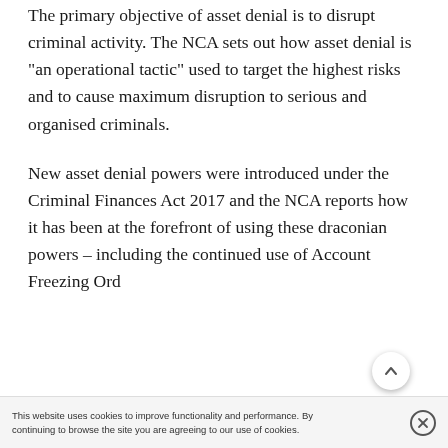The primary objective of asset denial is to disrupt criminal activity. The NCA sets out how asset denial is "an operational tactic" used to target the highest risks and to cause maximum disruption to serious and organised criminals.
New asset denial powers were introduced under the Criminal Finances Act 2017 and the NCA reports how it has been at the forefront of using these draconian powers – including the continued use of Account Freezing Ord...
This website uses cookies to improve functionality and performance. By continuing to browse the site you are agreeing to our use of cookies.